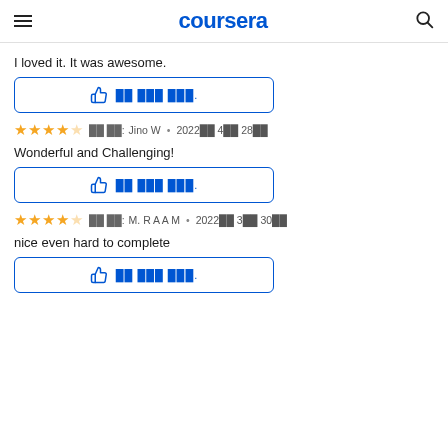coursera
I loved it. It was awesome.
[Figure (other): Thumbs up helpful button with garbled Korean text]
★★★★☆  이 리뷰: Jino W • 2022년 4월 28일
Wonderful and Challenging!
[Figure (other): Thumbs up helpful button with garbled Korean text]
★★★★☆  이 리뷰: M. R A A M • 2022년 3월 30일
nice even hard to complete
[Figure (other): Thumbs up helpful button with garbled Korean text]